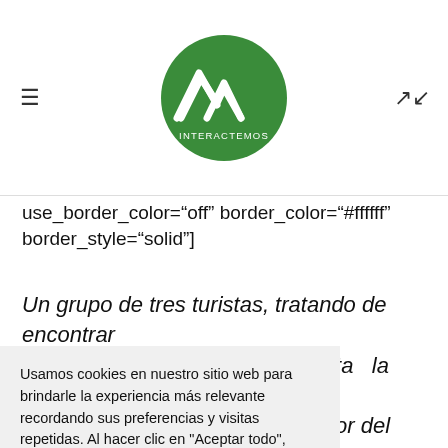Interactemos logo with hamburger menu and expand icon
use_border_color="off" border_color="#ffffff" border_style="solid"]
Un grupo de tres turistas, tratando de encontrar su camino en una ciudad. En esta la foto de los rededor del o móvil. En la o que tienen borar con la lo, por las cosas en ayudar a su grupo.
Usamos cookies en nuestro sitio web para brindarle la experiencia más relevante recordando sus preferencias y visitas repetidas. Al hacer clic en "Aceptar todo", acepta el uso de TODAS las cookies.